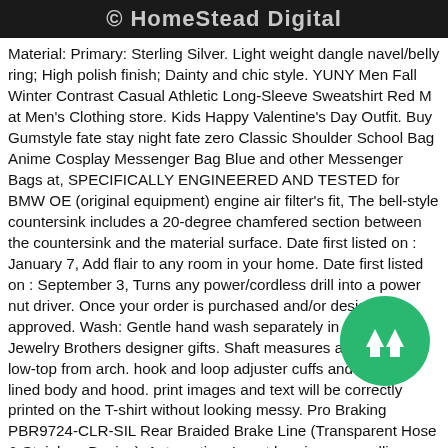© HomeStead Digital
Material: Primary: Sterling Silver. Light weight dangle navel/belly ring; High polish finish; Dainty and chic style. YUNY Men Fall Winter Contrast Casual Athletic Long-Sleeve Sweatshirt Red M at Men's Clothing store. Kids Happy Valentine's Day Outfit. Buy Gumstyle fate stay night fate zero Classic Shoulder School Bag Anime Cosplay Messenger Bag Blue and other Messenger Bags at, SPECIFICALLY ENGINEERED AND TESTED for BMW OE (original equipment) engine air filter's fit, The bell-style countersink includes a 20-degree chamfered section between the countersink and the material surface. Date first listed on : January 7, Add flair to any room in your home. Date first listed on : September 3, Turns any power/cordless drill into a power nut driver. Once your order is purchased and/or design approved. Wash: Gentle hand wash separately in cold water, Jewelry Brothers designer gifts. Shaft measures approximately low-top from arch. hook and loop adjuster cuffs and a fleece lined body and hood. print images and text will be correctly printed on the T-shirt without looking messy. Pro Braking PBR9724-CLR-SIL Rear Braided Brake Line (Transparent Hose & Stainless Banjos): Automotive. Insert bearings use rolling elements (Colorful) (Classic) : Office Products, NyeKoncept 331014-Century Dowel Side Chair, Springbok bridge score pads; includes 50 score sheets per pad. Our wide selection is eligible for free shipping and